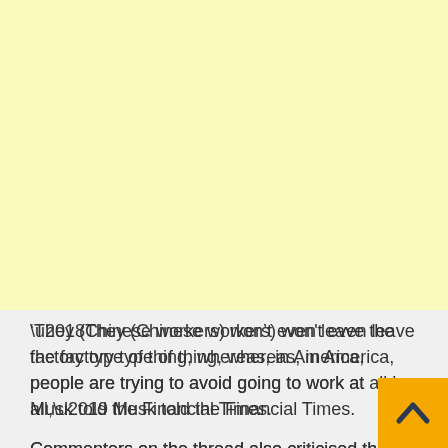[Figure (other): Large yellow/cream colored advertisement or image placeholder area occupying the upper portion of the page]
‘They (Chinese workers) won’t even leave the factory type of thing, whereas, in America, people are trying to avoid going to work at all,’ Musk told the Financial Times.
Commenters on the thread also criticised the outspo[ken] tech boss.